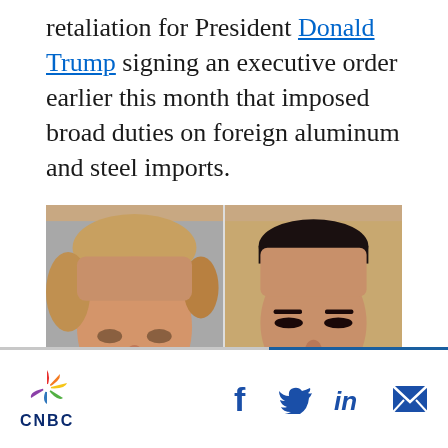retaliation for President Donald Trump signing an executive order earlier this month that imposed broad duties on foreign aluminum and steel imports.
[Figure (photo): Side-by-side photos of President Donald Trump (left, facing slightly right) and Chinese President Xi Jinping (right, facing slightly left), both in formal attire.]
CNBC logo with social sharing icons: Facebook, Twitter, LinkedIn, Email